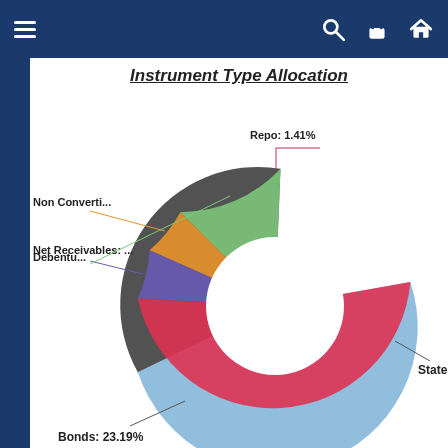Instrument Type Allocation
[Figure (donut-chart): Instrument Type Allocation]